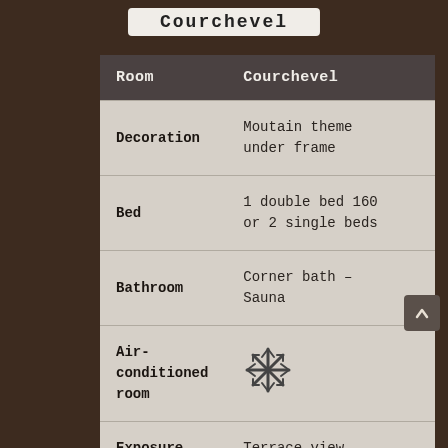Courchevel
| Room | Courchevel |
| --- | --- |
| Decoration | Moutain theme under frame |
| Bed | 1 double bed 160 or 2 single beds |
| Bathroom | Corner bath – Sauna |
| Air-conditioned room | ❄ |
| Exposure | Terrace view |